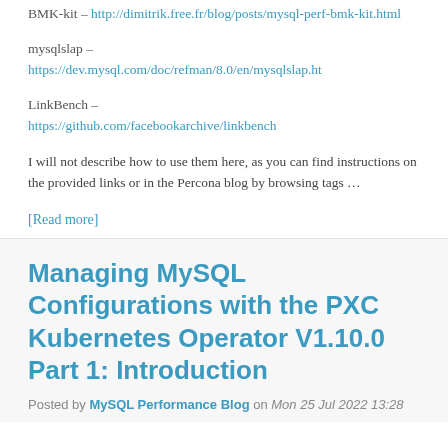BMK-kit – http://dimitrik.free.fr/blog/posts/mysql-perf-bmk-kit.html
mysqlslap – https://dev.mysql.com/doc/refman/8.0/en/mysqlslap.ht
LinkBench – https://github.com/facebookarchive/linkbench
I will not describe how to use them here, as you can find instructions on the provided links or in the Percona blog by browsing tags …
[Read more]
Managing MySQL Configurations with the PXC Kubernetes Operator V1.10.0 Part 1: Introduction
Posted by MySQL Performance Blog on Mon 25 Jul 2022 13:28